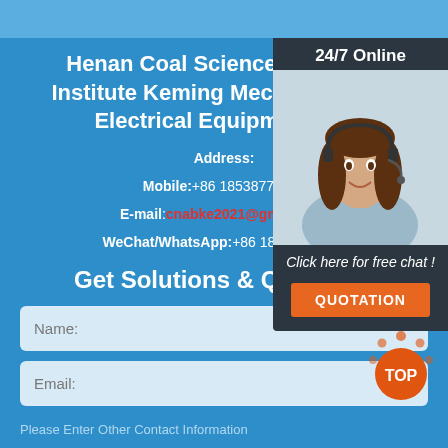Henan Coal Science Research Institute Keming Mechanical And Electrical Equipment Co.
Address:
Mobile: +86 18538777693
E-mail: cnabke2021@gmail.com
WeChat/WhatsApp: +86 18538777693
Get Solutions & Quotation
Name:
Email:
Please Enter Other Contact Information
[Figure (photo): Customer service agent smiling with headset, 24/7 Online label above, 'Click here for free chat!' text and QUOTATION button below]